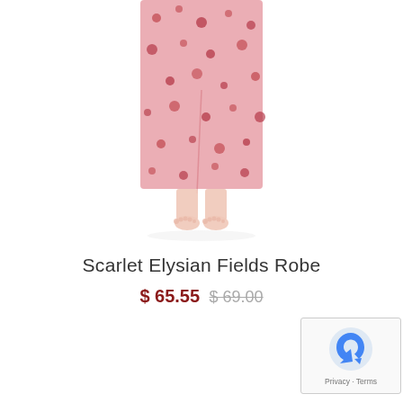[Figure (photo): Partial photo of a person wearing a scarlet/pink floral patterned robe, showing lower body and bare feet against white background]
Scarlet Elysian Fields Robe
$ 65.55  $ 69.00
[Figure (logo): Google reCAPTCHA badge with Privacy and Terms links]